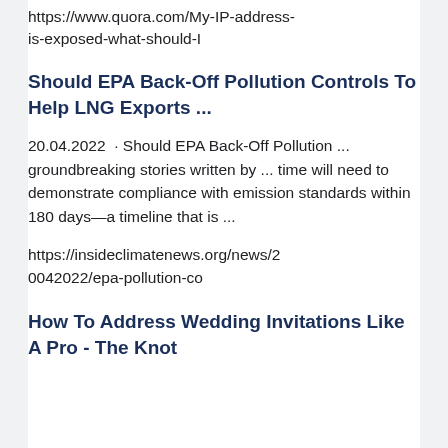https://www.quora.com/My-IP-address-is-exposed-what-should-I
Should EPA Back-Off Pollution Controls To Help LNG Exports ...
20.04.2022  · Should EPA Back-Off Pollution ... groundbreaking stories written by ... time will need to demonstrate compliance with emission standards within 180 days—a timeline that is ...
https://insideclimatenews.org/news/20042022/epa-pollution-co
How To Address Wedding Invitations Like A Pro - The Knot